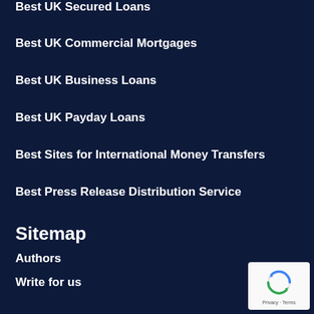Best UK Secured Loans
Best UK Commercial Mortgages
Best UK Business Loans
Best UK Payday Loans
Best Sites for International Money Transfers
Best Press Release Distribution Service
Sitemap
Authors
Write for us
Advertise
Contact
Privacy Policy
Terms and Conditions